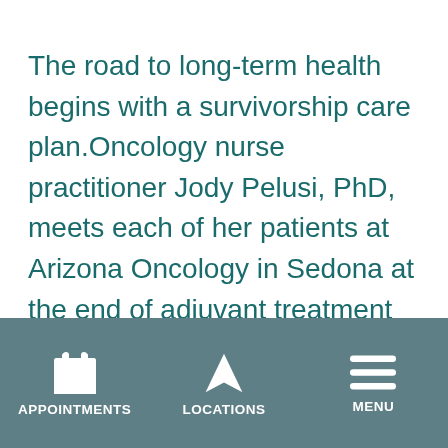The road to long-term health begins with a survivorship care plan.Oncology nurse practitioner Jody Pelusi, PhD, meets each of her patients at Arizona Oncology in Sedona at the end of adjuvant treatment to complete an individualized survivorship care plan (SCP) with detailed treatment notes. During what may be one or two visits, Pelusi goes over each area listed in the Institute of Medicine (IOM) and National Research Council 2005 report, From Cancer Patient to Cancer Survivor: Lost in
APPOINTMENTS | LOCATIONS | MENU